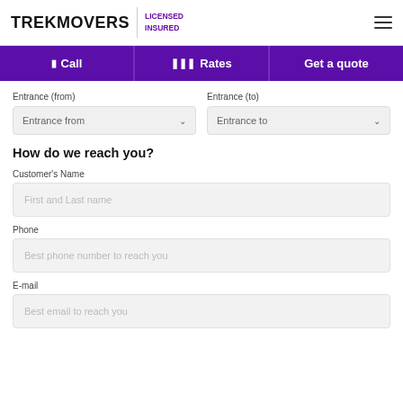TREKMOVERS | LICENSED INSURED
Call | Rates | Get a quote
Entrance (from)
Entrance from
Entrance (to)
Entrance to
How do we reach you?
Customer's Name
First and Last name
Phone
Best phone number to reach you
E-mail
Best email to reach you